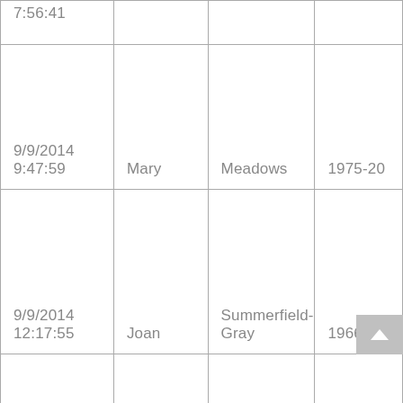| Date/Time | First Name | Last Name | Years |
| --- | --- | --- | --- |
| 7:56:41 (partial) |  |  |  |
| 9/9/2014
9:47:59 | Mary | Meadows | 1975-20... |
| 9/9/2014
12:17:55 | Joan | Summerfield-Gray | 1966-68 |
| 9/9/2014
12:28:13 (partial) | Lisa | Gregory | 1993-199... |